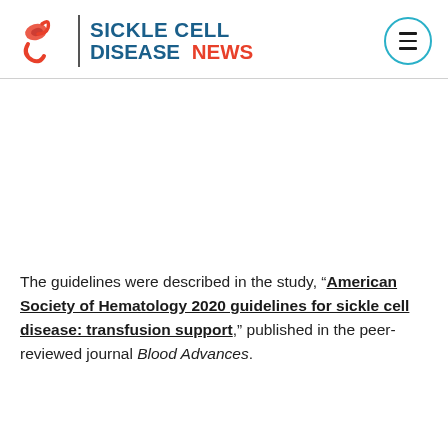SICKLE CELL DISEASE NEWS
The guidelines were described in the study, “American Society of Hematology 2020 guidelines for sickle cell disease: transfusion support,” published in the peer-reviewed journal Blood Advances.